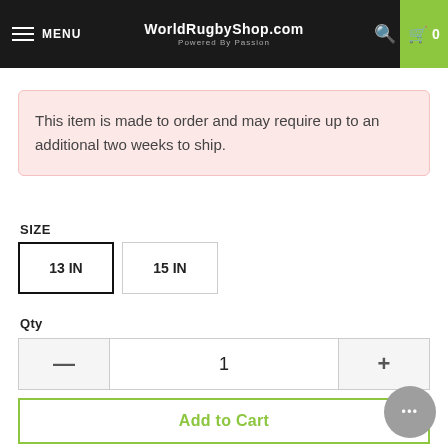MENU | WorldRugbyShop.com Powered By Passion | 0
This item is made to order and may require up to an additional two weeks to ship.
SIZE
13 IN
15 IN
Qty
1
Add to Cart